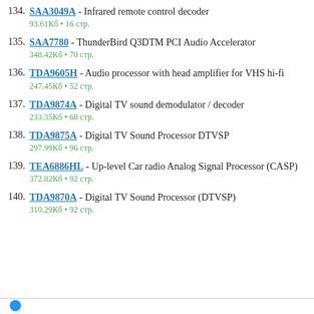134. SAA3049A - Infrared remote control decoder
93.61Кб • 16 стр.
135. SAA7780 - ThunderBird Q3DTM PCI Audio Accelerator
348.42Кб • 70 стр.
136. TDA9605H - Audio processor with head amplifier for VHS hi-fi
247.45Кб • 52 стр.
137. TDA9874A - Digital TV sound demodulator / decoder
233.35Кб • 68 стр.
138. TDA9875A - Digital TV Sound Processor DTVSP
297.99Кб • 96 стр.
139. TEA6886HL - Up-level Car radio Analog Signal Processor (CASP)
372.82Кб • 92 стр.
140. TDA9870A - Digital TV Sound Processor (DTVSP)
310.29Кб • 92 стр.